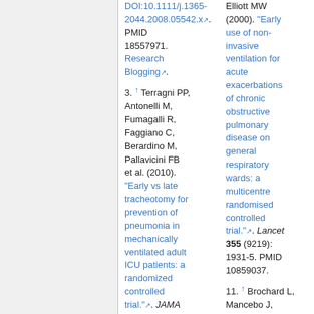DOI:10.1111/j.1365-2044.2008.05542.x. PMID 18557971. Research Blogging.
3. ↑ Terragni PP, Antonelli M, Fumagalli R, Faggiano C, Berardino M, Pallavicini FB et al. (2010). "Early vs late tracheotomy for prevention of pneumonia in mechanically ventilated adult ICU patients: a randomized controlled trial.". JAMA 303 (15): 1483-
Elliott MW (2000). "Early use of non-invasive ventilation for acute exacerbations of chronic obstructive pulmonary disease on general respiratory wards: a multicentre randomised controlled trial.". Lancet 355 (9219): 1931-5. PMID 10859037.
11. ↑ Brochard L, Mancebo J, Wysocki M,